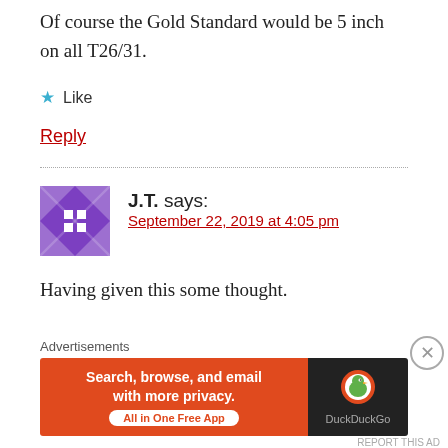Of course the Gold Standard would be 5 inch on all T26/31.
★ Like
Reply
J.T. says:
September 22, 2019 at 4:05 pm
Having given this some thought.
I don't think the currently envisaged T31 guns
Advertisements
[Figure (screenshot): DuckDuckGo advertisement banner: orange left panel with text 'Search, browse, and email with more privacy. All in One Free App' and dark right panel with DuckDuckGo duck logo and brand name.]